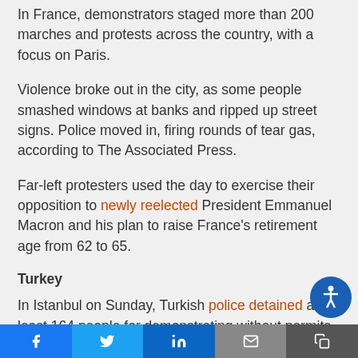In France, demonstrators staged more than 200 marches and protests across the country, with a focus on Paris.
Violence broke out in the city, as some people smashed windows at banks and ripped up street signs. Police moved in, firing rounds of tear gas, according to The Associated Press.
Far-left protesters used the day to exercise their opposition to newly reelected President Emmanuel Macron and his plan to raise France's retirement age from 62 to 65.
Turkey
In Istanbul on Sunday, Turkish police detained at least 164 people for demonstrating without permits and resisting police at Taksim Square, the AP
Share buttons: Facebook, Twitter, LinkedIn, Email, Copy